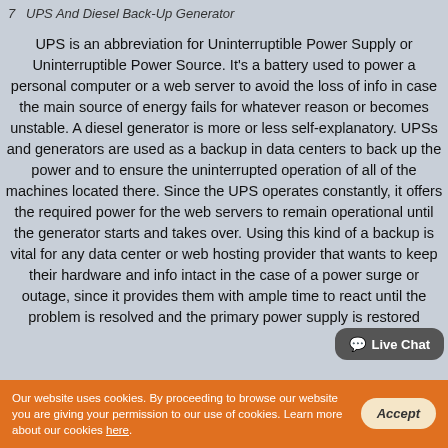7  UPS And Diesel Back-Up Generator
UPS is an abbreviation for Uninterruptible Power Supply or Uninterruptible Power Source. It's a battery used to power a personal computer or a web server to avoid the loss of info in case the main source of energy fails for whatever reason or becomes unstable. A diesel generator is more or less self-explanatory. UPSs and generators are used as a backup in data centers to back up the power and to ensure the uninterrupted operation of all of the machines located there. Since the UPS operates constantly, it offers the required power for the web servers to remain operational until the generator starts and takes over. Using this kind of a backup is vital for any data center or web hosting provider that wants to keep their hardware and info intact in the case of a power surge or outage, since it provides them with ample time to react until the problem is resolved and the primary power supply is restored.
Our website uses cookies. By proceeding to browse our website you are giving your permission to our use of cookies. Learn more about our cookies here.